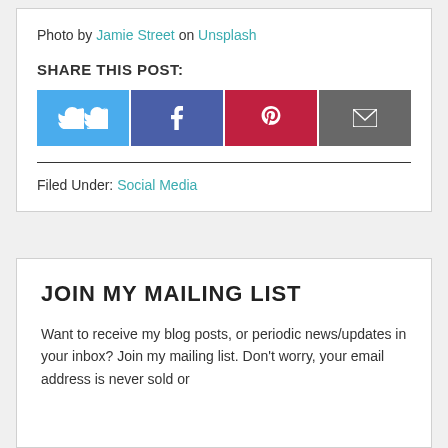Photo by Jamie Street on Unsplash
SHARE THIS POST:
[Figure (other): Four social share buttons: Twitter (blue), Facebook (dark blue), Pinterest (red), Email (grey)]
Filed Under: Social Media
JOIN MY MAILING LIST
Want to receive my blog posts, or periodic news/updates in your inbox? Join my mailing list. Don't worry, your email address is never sold or